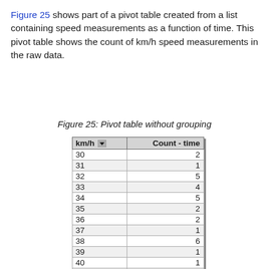Figure 25 shows part of a pivot table created from a list containing speed measurements as a function of time. This pivot table shows the count of km/h speed measurements in the raw data.
Figure 25: Pivot table without grouping
| km/h | Count - time |
| --- | --- |
| 30 | 2 |
| 31 | 1 |
| 32 | 5 |
| 33 | 4 |
| 34 | 5 |
| 35 | 2 |
| 36 | 2 |
| 37 | 1 |
| 38 | 6 |
| 39 | 1 |
| 40 | 1 |
| 41 | 4 |
| 42 | 2 |